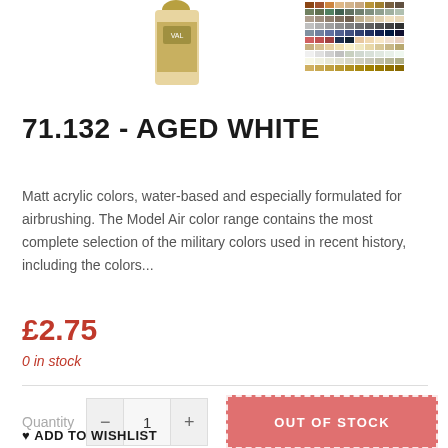[Figure (photo): Product image showing a Vallejo Model Air paint bottle and a color swatch grid thumbnail]
71.132 - AGED WHITE
Matt acrylic colors, water-based and especially formulated for airbrushing. The Model Air color range contains the most complete selection of the military colors used in recent history, including the colors...
£2.75
0 in stock
Quantity  −  1  +    OUT OF STOCK
♥ ADD TO WISHLIST